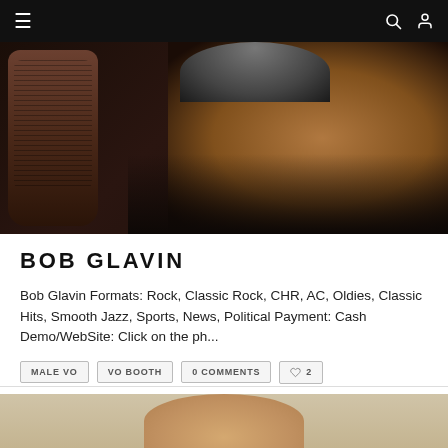Navigation bar with hamburger menu, search icon, and user icon
[Figure (photo): Close-up photo of a man near a microphone, wearing headphones, dark background]
BOB GLAVIN
Bob Glavin Formats: Rock, Classic Rock, CHR, AC, Oldies, Classic Hits, Smooth Jazz, Sports, News, Political Payment: Cash Demo/WebSite: Click on the ph...
MALE VO
VO BOOTH
0 COMMENTS
2 likes
[Figure (photo): Partial photo of a blonde woman, cropped at bottom of page]